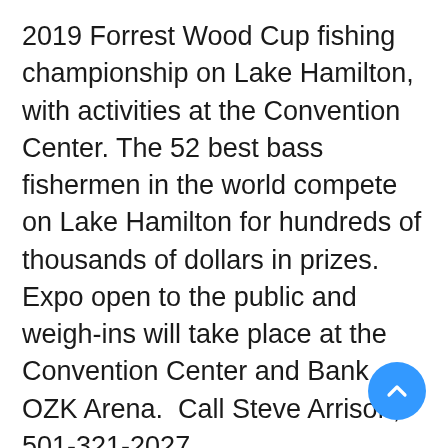2019 Forrest Wood Cup fishing championship on Lake Hamilton, with activities at the Convention Center. The 52 best bass fishermen in the world compete on Lake Hamilton for hundreds of thousands of dollars in prizes. Expo open to the public and weigh-ins will take place at the Convention Center and Bank OZK Arena.  Call Steve Arrison, 501-321-2027.
#5 August 10 — Sevendust at Magic Springs Magic Springs 2019 Concert Series featuring Sevendust at 6 p.m. at Magic Springs Theme and Water Park. Concert